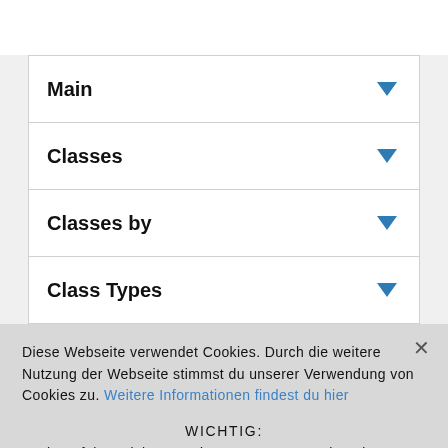Main
Classes
Classes by
Class Types
Diese Webseite verwendet Cookies. Durch die weitere Nutzung der Webseite stimmst du unserer Verwendung von Cookies zu. Weitere Informationen findest du hier
WICHTIG:
Wir verfolgen deine IP-Adresse NICHT zurück und nutzen auch KEINE Analysen, Pixel oder Cookies für Retargeting. Wenn wir dir gefallen, besuche uns einfach wieder onl
Kontakt